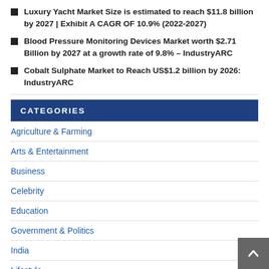Luxury Yacht Market Size is estimated to reach $11.8 billion by 2027 | Exhibit A CAGR OF 10.9% (2022-2027)
Blood Pressure Monitoring Devices Market worth $2.71 Billion by 2027 at a growth rate of 9.8% – IndustryARC
Cobalt Sulphate Market to Reach US$1.2 billion by 2026: IndustryARC
CATEGORIES
Agriculture & Farming
Arts & Entertainment
Business
Celebrity
Education
Government & Politics
India
Lifestyle